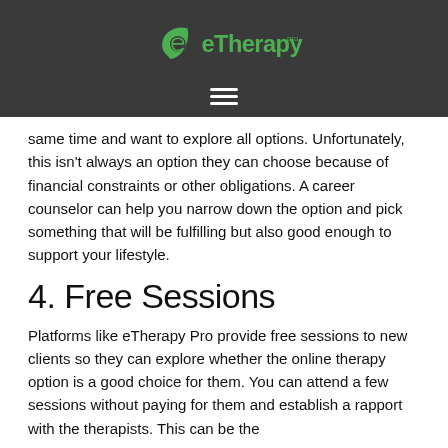[Figure (logo): eTherapy Pro logo with green leaf and text on dark background]
same time and want to explore all options. Unfortunately, this isn't always an option they can choose because of financial constraints or other obligations. A career counselor can help you narrow down the option and pick something that will be fulfilling but also good enough to support your lifestyle.
4. Free Sessions
Platforms like eTherapy Pro provide free sessions to new clients so they can explore whether the online therapy option is a good choice for them. You can attend a few sessions without paying for them and establish a rapport with the therapists. This can be the...